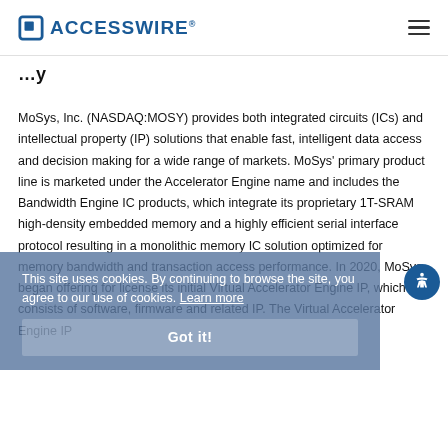ACCESSWIRE
...y
MoSys, Inc. (NASDAQ:MOSY) provides both integrated circuits (ICs) and intellectual property (IP) solutions that enable fast, intelligent data access and decision making for a wide range of markets. MoSys' primary product line is marketed under the Accelerator Engine name and includes the Bandwidth Engine IC products, which integrate its proprietary 1T-SRAM high-density embedded memory and a highly efficient serial interface protocol resulting in a monolithic memory IC solution optimized for memory bandwidth and transaction access performance. In 2020, MoSys began offering for license its initial Virtual Accelerator Engine IP, which consists of software, firmware and related IP. The Virtual Accelerator Engine IP
This site uses cookies. By continuing to browse the site, you agree to our use of cookies. Learn more
Got it!